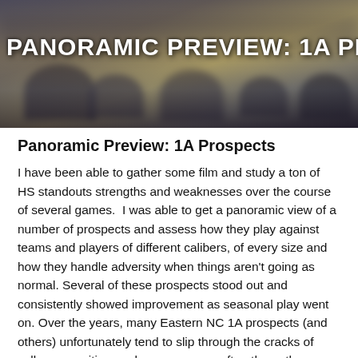[Figure (photo): Banner image showing a blurry panoramic view of a crowd/gymnasium with bold white text overlay reading 'PANORAMIC PREVIEW: 1A PROSPECTS']
Panoramic Preview: 1A Prospects
I have been able to gather some film and study a ton of HS standouts strengths and weaknesses over the course of several games.  I was able to get a panoramic view of a number of prospects and assess how they play against teams and players of different calibers, of every size and how they handle adversity when things aren't going as normal. Several of these prospects stood out and consistently showed improvement as seasonal play went on. Over the years, many Eastern NC 1A prospects (and others) unfortunately tend to slip through the cracks of college recruiting each season more often than others. Listed below are 2 standouts competing in